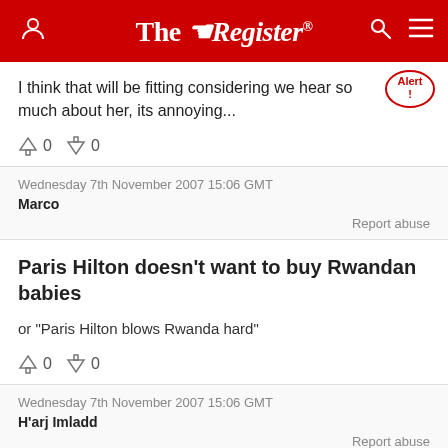The Register
I think that will be fitting considering we hear so much about her, its annoying...
↑0  ↓0
Wednesday 7th November 2007 15:06 GMT
Marco
Report abuse
Paris Hilton doesn't want to buy Rwandan babies
or "Paris Hilton blows Rwanda hard"
↑0  ↓0
Wednesday 7th November 2007 15:06 GMT
H'arj Imladd
Report abuse